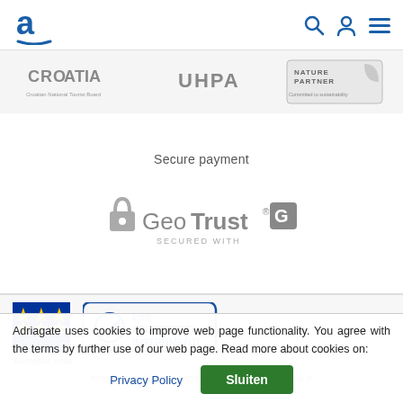Adriagate navigation bar with logo, search, user, and menu icons
[Figure (logo): Partner logos strip: Croatia Croatian National Tourist Board, UHPA, and Nature Partner Committed to sustainability]
Secure payment
[Figure (logo): GeoTrust lock icon badge — SECURED WITH GeoTrust]
[Figure (logo): EU flag logo (Europska unija) and ESIF Financijski Instrumenti badge]
Krajnji primatelji financijskog instrumenta sufinanciranog iz
Adriagate uses cookies to improve web page functionality. You agree with the terms by further use of our web page. Read more about cookies on:
Privacy Policy  Sluiten